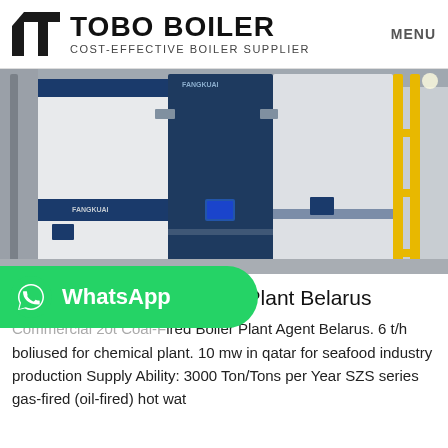TOBO BOILER — COST-EFFECTIVE BOILER SUPPLIER | MENU
[Figure (photo): Industrial boiler units in a facility — large blue and white FANGKUAI branded boiler modules installed in a building with yellow metal scaffolding visible on the right.]
Price 20t Biomass Boiler Plant Belarus
Commercial 20t Coal-Fired Boiler Plant Agent Belarus. 6 t/h boliused for chemical plant. 10 mw in qatar for seafood industry production Supply Ability: 3000 Ton/Tons per Year SZS series gas-fired (oil-fired) hot wat